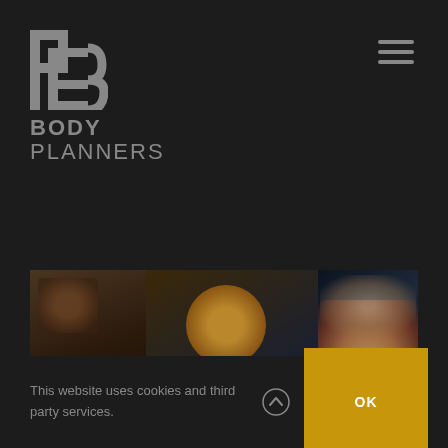[Figure (logo): Body Planners logo — stylized 'BP' icon above the text 'BODY PLANNERS' in grey on dark background]
[Figure (illustration): Hamburger/menu icon (three horizontal lines) in grey, top-right corner]
[Figure (photo): Strip of three dim food photos on dark background: left shows a plate with food, center shows a golden/orange glowing dish, right shows food with light-colored toppings]
This website uses cookies and third party services.
[Figure (illustration): Upward arrow icon (scroll-to-top button) in grey]
[Figure (illustration): OK button in golden/amber color with white text 'OK']